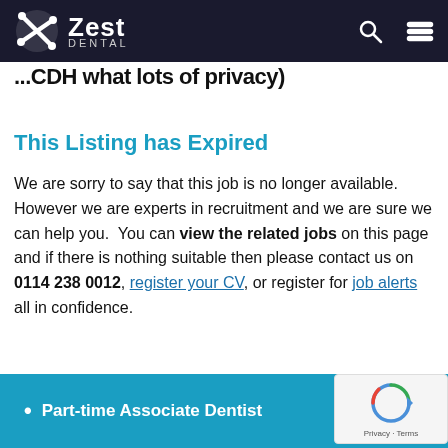Zest Dental
...CDH what lots of privacy)
This Listing has Expired
We are sorry to say that this job is no longer available. However we are experts in recruitment and we are sure we can help you. You can view the related jobs on this page and if there is nothing suitable then please contact us on 0114 238 0012, register your CV, or register for job alerts all in confidence.
Part-time Associate Dentist